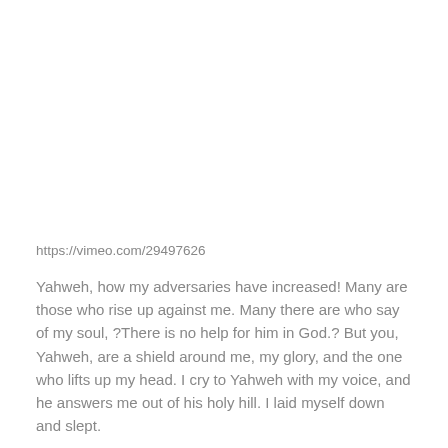https://vimeo.com/29497626
Yahweh, how my adversaries have increased! Many are those who rise up against me. Many there are who say of my soul, ?There is no help for him in God.? But you, Yahweh, are a shield around me, my glory, and the one who lifts up my head. I cry to Yahweh with my voice, and he answers me out of his holy hill. I laid myself down and slept.
I awakened; for Yahweh sustains me. I will not be afraid of tens of thousands of people who have set themselves against me on